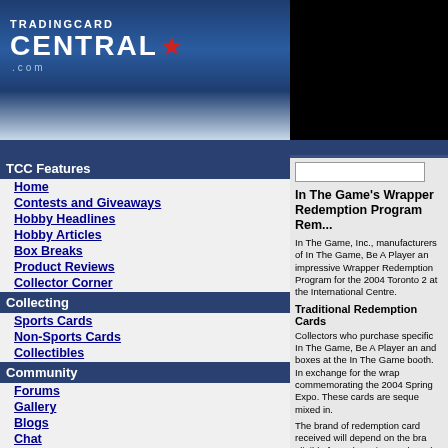[Figure (logo): TradingCardCentral.com logo with star on dark blue gradient background]
TCC Features
Home
Contests and Giveaways
Hobby Headlines
Hobby Articles
Box Breaks
Product Reviews
Collector Corner
Collecting
Sports Cards
Non-Sports Cards
Collectibles
Community
Forums
Gallery
Blogs
Chat
Trivia
Resources
FAQ
Contact Us
NPN Offers
Price Guides
Grading
In The Game's Wrapper Redemption Program Rem...
In The Game, Inc., manufacturers of In The Game, Be A Player and impressive Wrapper Redemption Program for the 2004 Toronto 2 at the International Centre.
Traditional Redemption Cards
Collectors who purchase specific In The Game, Be A Player and boxes at the In The Game booth. In exchange for the wrappers commemorating the 2004 Spring Expo. These cards are sequentially mixed in.
The brand of redemption card received will depend on the brand eligible for redemption cards at the 2004 Spring Expo:
2003-04 In The Game-Used/Signature Series
Receive four foil-stamped cards (# to 10) from the 200-card Silver set (except cards #121-150) per wrapper.
2003-04 Parkhurst Original Six
Receive one foil-stamped card (# to 10) from the 600 different one versions of the non-memorabilia insert cards mixed in.
2003-04 Memorabilia Series